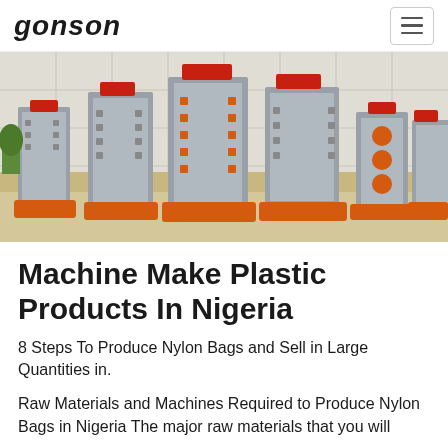GONSON
[Figure (photo): Industrial plastic injection mold machines arranged in a row in a factory/showroom with white tiled walls. Multiple large metal molds with orange bases and red hydraulic components are displayed.]
Machine Make Plastic Products In Nigeria
8 Steps To Produce Nylon Bags and Sell in Large Quantities in.
Raw Materials and Machines Required to Produce Nylon Bags in Nigeria The major raw materials that you will